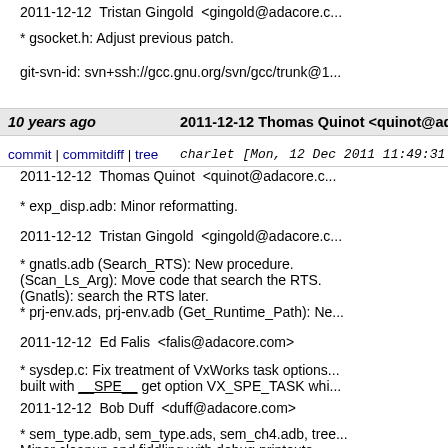2011-12-12  Tristan Gingold  <gingold@adacore.c...
* gsocket.h: Adjust previous patch.
git-svn-id: svn+ssh://gcc.gnu.org/svn/gcc/trunk@1...
10 years ago   2011-12-12 Thomas Quinot <quinot@adacore.c...
commit | commitdiff | tree   charlet [Mon, 12 Dec 2011 11:49:31 +0000...
2011-12-12  Thomas Quinot  <quinot@adacore.c...
* exp_disp.adb: Minor reformatting.
2011-12-12  Tristan Gingold  <gingold@adacore.c...
* gnatls.adb (Search_RTS): New procedure. (Scan_Ls_Arg): Move code that search the RTS. (Gnatls): search the RTS later. * prj-env.ads, prj-env.adb (Get_Runtime_Path): Ne...
2011-12-12  Ed Falis  <falis@adacore.com>
* sysdep.c: Fix treatment of VxWorks task options... built with __SPE__ get option VX_SPE_TASK whi...
2011-12-12  Bob Duff  <duff@adacore.com>
* sem_type.adb, sem_type.ads, sem_ch4.adb, tree... Minor cleanup and fiddling with debug printouts.